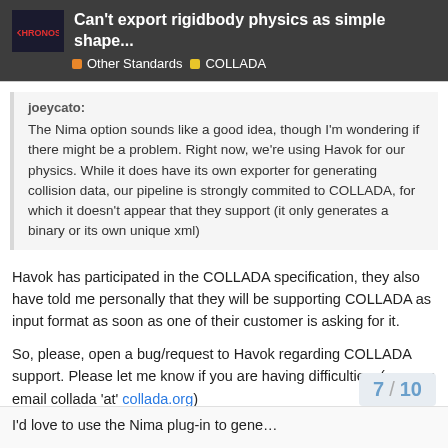Can't export rigidbody physics as simple shape...
Other Standards  COLLADA
joeycato:
The Nima option sounds like a good idea, though I'm wondering if there might be a problem. Right now, we're using Havok for our physics. While it does have its own exporter for generating collision data, our pipeline is strongly commited to COLLADA, for which it doesn't appear that they support (it only generates a binary or its own unique xml)
Havok has participated in the COLLADA specification, they also have told me personally that they will be supporting COLLADA as input format as soon as one of their customer is asking for it.
So, please, open a bug/request to Havok regarding COLLADA support. Please let me know if you are having difficulties. (you can email collada 'at' collada.org)
7 / 10
I'd love to use the Nima plug-in to gene...